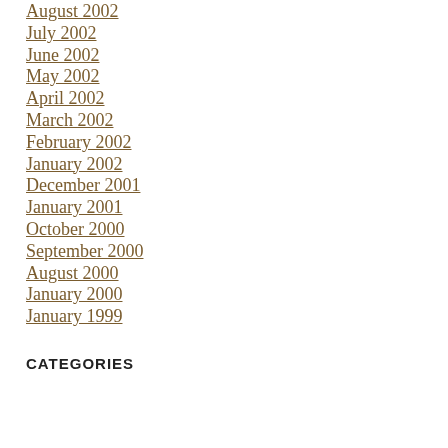August 2002
July 2002
June 2002
May 2002
April 2002
March 2002
February 2002
January 2002
December 2001
January 2001
October 2000
September 2000
August 2000
January 2000
January 1999
CATEGORIES